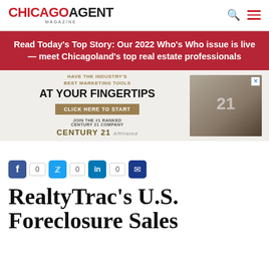CHICAGO AGENT MAGAZINE
Read Today's Top Story: Our 2022 Who's Who issue is live — meet Chicagoland's top real estate professionals
[Figure (infographic): Century 21 advertisement: Have the industry's best marketing tools at your fingertips. Click here to start. Join the #1 ranked Century 21 company. Century 21 Affiliated.]
0  0  0
RealtyTrac's U.S. Foreclosure Sales